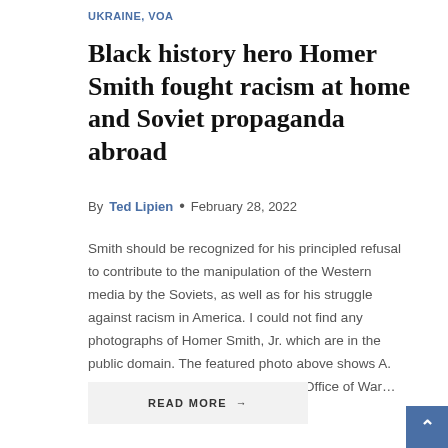UKRAINE, VOA
Black history hero Homer Smith fought racism at home and Soviet propaganda abroad
By Ted Lipien • February 28, 2022
Smith should be recognized for his principled refusal to contribute to the manipulation of the Western media by the Soviets, as well as for his struggle against racism in America. I could not find any photographs of Homer Smith, Jr. which are in the public domain. The featured photo above shows A. Marcus Garveyite reading the OWI (Office of War…
READ MORE →